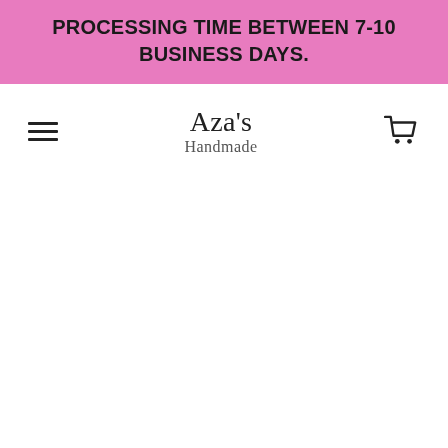PROCESSING TIME BETWEEN 7-10 BUSINESS DAYS.
[Figure (logo): Aza's Handmade shop logo with hamburger menu icon on left and shopping cart icon on right]
Aza's Handmade